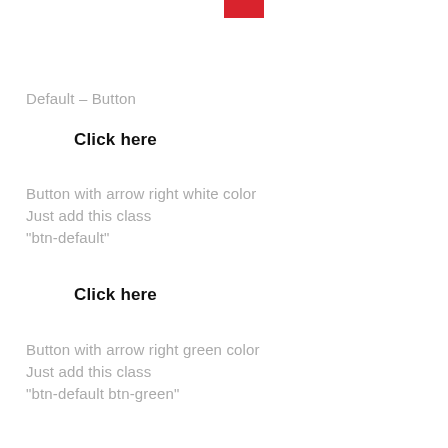[Figure (other): Small red rectangle icon at the top center of the page]
Default – Button
Click here
Button with arrow right white color
Just add this class
"btn-default"
Click here
Button with arrow right green color
Just add this class
"btn-default btn-green"